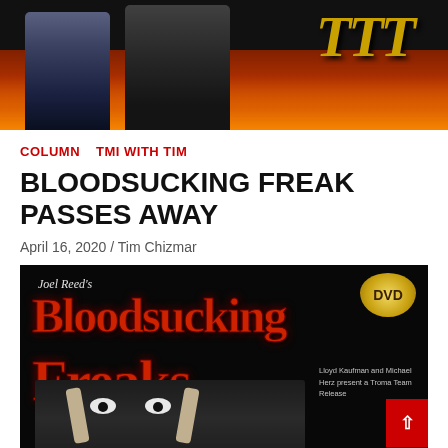[Figure (photo): Top banner image showing two people standing in front of a fiery/flame background with a logo]
COLUMN  TMI WITH TIM
BLOODSUCKING FREAK PASSES AWAY
April 16, 2020 / Tim Chizmar
[Figure (photo): DVD cover of Joel Reed's Bloodsucking Freaks, showing the title in dripping red letters with a face image below, Lloyd Kaufman and Michael Herz present a Troma Team Release]